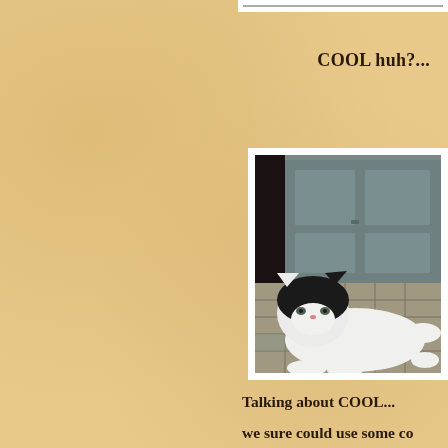[Figure (photo): Partial view of a photo at top right edge of page, mostly cropped off]
COOL huh?...
[Figure (photo): A black and white cat lying on outdoor paving stones in front of a grey door]
Talking about COOL...
we sure could use some co
over here now...
it's to hot to do anythin
the early mornings are the